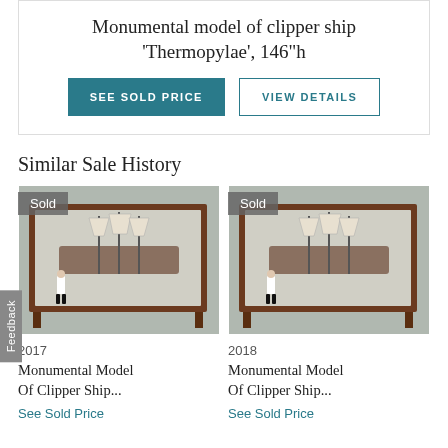Monumental model of clipper ship 'Thermopylae', 146"h
SEE SOLD PRICE | VIEW DETAILS
Similar Sale History
[Figure (photo): Photo of Monumental Model Of Clipper Ship in glass display case, person standing next to it for scale. Badge: Sold. Year: 2017.]
2017
Monumental Model Of Clipper Ship...
See Sold Price
[Figure (photo): Photo of Monumental Model Of Clipper Ship in glass display case, person standing next to it for scale. Badge: Sold. Year: 2018.]
2018
Monumental Model Of Clipper Ship...
See Sold Price